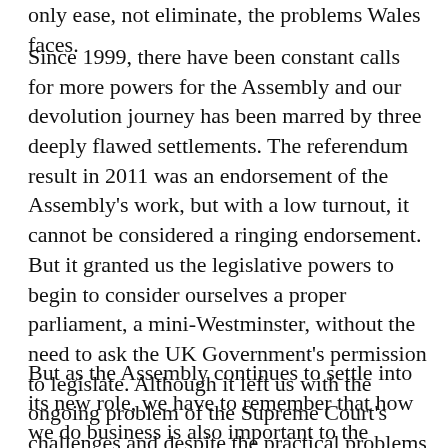only ease, not eliminate, the problems Wales faces.
Since 1999, there have been constant calls for more powers for the Assembly and our devolution journey has been marred by three deeply flawed settlements. The referendum result in 2011 was an endorsement of the Assembly's work, but with a low turnout, it cannot be considered a ringing endorsement. But it granted us the legislative powers to begin to consider ourselves a proper parliament, a mini-Westminster, without the need to ask the UK Government's permission to legislate. Although it left us with the ongoing problem of the Supreme Court's challenges and despite the practical problems that we've had along the way, our institution has grown in confidence.
But as the Assembly continues to settle into its new role, we have to remember that how we do business is also important to the public. As we look forward, the